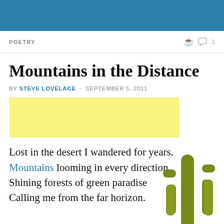POETRY   ◯ 1
Mountains in the Distance
BY STEVE LOVELACE · SEPTEMBER 5, 2011
[Figure (other): Yellow highlighted rectangle, likely an advertisement or image placeholder]
Lost in the desert I wandered for years.
Mountains looming in every direction.
Shining forests of green paradise
Calling me from the far horizon.

I never got closer to finding my
[Figure (photo): A tall saguaro cactus on the right side of the page, photographed against a white background]